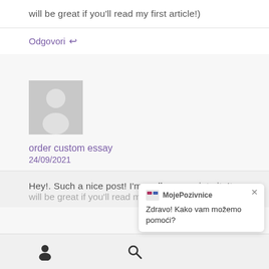will be great if you'll read my first article!)
Odgovori ↩
[Figure (illustration): Grey placeholder avatar image (person silhouette on grey background)]
order custom essay
24/09/2021
Hey!. Such a nice post! I'm really appreciate it. It will be great if you'll read my first article!)
[Figure (other): Bottom toolbar with user icon and search icon]
MojePozivnice
Zdravo! Kako vam možemo pomoći?